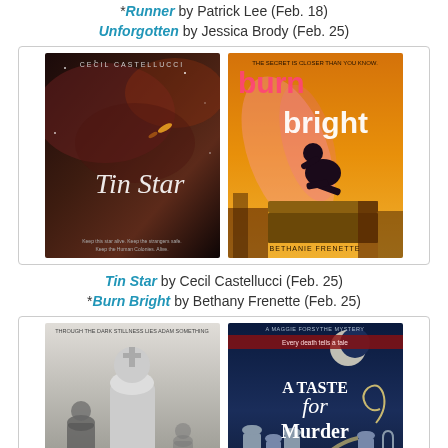*Runner by Patrick Lee (Feb. 18) Unforgotten by Jessica Brody (Feb. 25)
[Figure (photo): Two book covers side by side: 'Tin Star' by Cecil Castellucci (dark space scene) and 'Burn Bright' by Bethany Frenette (figure on rooftop with yellow background)]
Tin Star by Cecil Castellucci (Feb. 25) *Burn Bright by Bethany Frenette (Feb. 25)
[Figure (photo): Two book covers side by side: 'Grandmaster' (black and white chess pieces) and 'A Taste for Murder' (mystery novel with cemetery scene)]